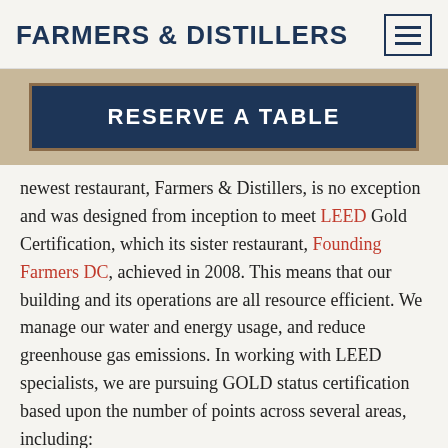FARMERS & DISTILLERS
RESERVE A TABLE
newest restaurant, Farmers & Distillers, is no exception and was designed from inception to meet LEED Gold Certification, which its sister restaurant, Founding Farmers DC, achieved in 2008. This means that our building and its operations are all resource efficient. We manage our water and energy usage, and reduce greenhouse gas emissions. In working with LEED specialists, we are pursuing GOLD status certification based upon the number of points across several areas, including:
Maintaining our recycling and composting program